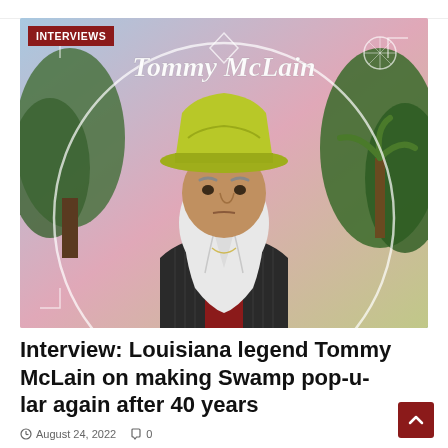[Figure (photo): Album/promotional photo of Tommy McLain, an elderly man with a large white beard wearing a bright yellow/chartreuse cowboy hat and a dark pinstripe jacket over a red shirt. The background shows a stylized pink and blue sky with trees, and decorative white circular ornamental designs. The text 'Tommy McLain' is written in white script lettering at the top of the image. A red 'INTERVIEWS' badge is overlaid in the top-left corner.]
Interview: Louisiana legend Tommy McLain on making Swamp pop-u-lar again after 40 years
August 24, 2022   0